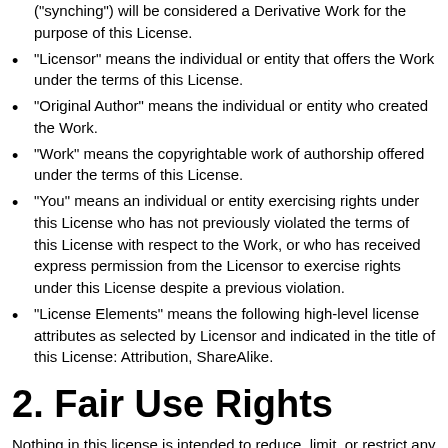("synching") will be considered a Derivative Work for the purpose of this License.
"Licensor" means the individual or entity that offers the Work under the terms of this License.
"Original Author" means the individual or entity who created the Work.
"Work" means the copyrightable work of authorship offered under the terms of this License.
"You" means an individual or entity exercising rights under this License who has not previously violated the terms of this License with respect to the Work, or who has received express permission from the Licensor to exercise rights under this License despite a previous violation.
"License Elements" means the following high-level license attributes as selected by Licensor and indicated in the title of this License: Attribution, ShareAlike.
2. Fair Use Rights
Nothing in this license is intended to reduce, limit, or restrict any